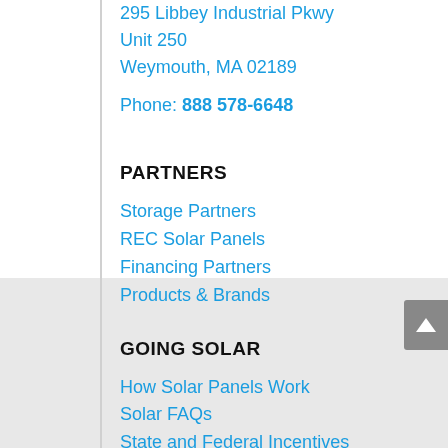295 Libbey Industrial Pkwy
Unit 250
Weymouth, MA 02189
Phone: 888 578-6648
PARTNERS
Storage Partners
REC Solar Panels
Financing Partners
Products & Brands
GOING SOLAR
How Solar Panels Work
Solar FAQs
State and Federal Incentives
Going Solar Blog